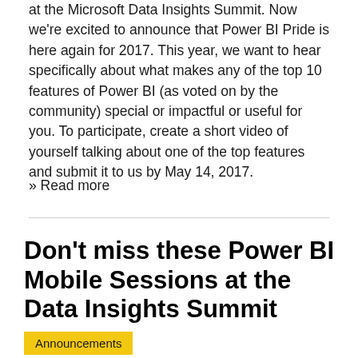at the Microsoft Data Insights Summit. Now we're excited to announce that Power BI Pride is here again for 2017. This year, we want to hear specifically about what makes any of the top 10 features of Power BI (as voted on by the community) special or impactful or useful for you. To participate, create a short video of yourself talking about one of the top features and submit it to us by May 14, 2017.
» Read more
Don't miss these Power BI Mobile Sessions at the Data Insights Summit
Announcements